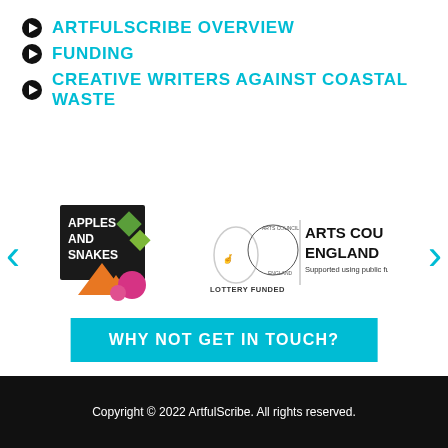ARTFULSCRIBE OVERVIEW
FUNDING
CREATIVE WRITERS AGAINST COASTAL WASTE
[Figure (logo): Apples and Snakes logo and Arts Council England Lottery Funded logo, displayed in a carousel with left and right arrows]
WHY NOT GET IN TOUCH?
Copyright © 2022 ArtfulScribe. All rights reserved.